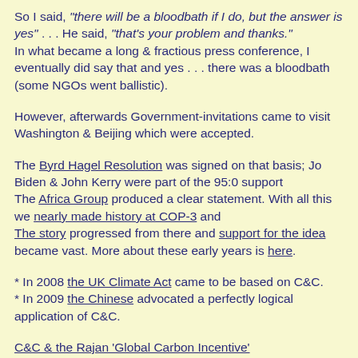So I said, "there will be a bloodbath if I do, but the answer is yes" . . . He said, "that's your problem and thanks." In what became a long & fractious press conference, I eventually did say that and yes . . . there was a bloodbath (some NGOs went ballistic).
However, afterwards Government-invitations came to visit Washington & Beijing which were accepted.
The Byrd Hagel Resolution was signed on that basis; Jo Biden & John Kerry were part of the 95:0 support
The Africa Group produced a clear statement. With all this we nearly made history at COP-3 and
The story progressed from there and support for the idea became vast. More about these early years is here.
* In 2008 the UK Climate Act came to be based on C&C.
* In 2009 the Chinese advocated a perfectly logical application of C&C.
C&C & the Rajan 'Global Carbon Incentive'